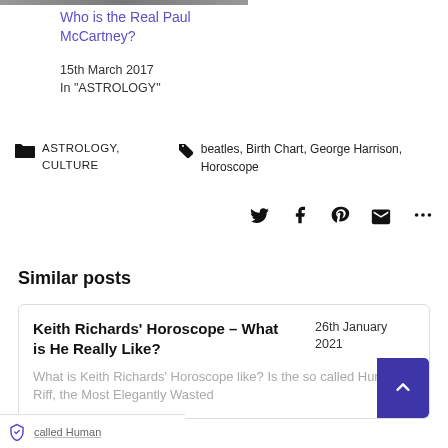[Figure (photo): Black and white photo strip at top of page]
Who is the Real Paul McCartney?
15th March 2017
In "ASTROLOGY"
ASTROLOGY, CULTURE   beatles, Birth Chart, George Harrison, Horoscope
[Figure (infographic): Social share icons: Twitter, Facebook, Pinterest, Email, More]
Similar posts
Keith Richards' Horoscope – What is He Really Like?   26th January 2021   What is Keith Richards' Horoscope like? Is the so called Human Riff, the Most Elegantly Wasted